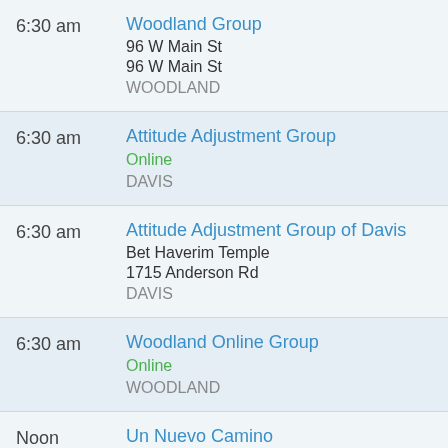6:30 am — Woodland Group, 96 W Main St, 96 W Main St, WOODLAND
6:30 am — Attitude Adjustment Group, Online, DAVIS
6:30 am — Attitude Adjustment Group of Davis, Bet Haverim Temple, 1715 Anderson Rd, DAVIS
6:30 am — Woodland Online Group, Online, WOODLAND
Noon — Un Nuevo Camino, 1361 Merkley Ave